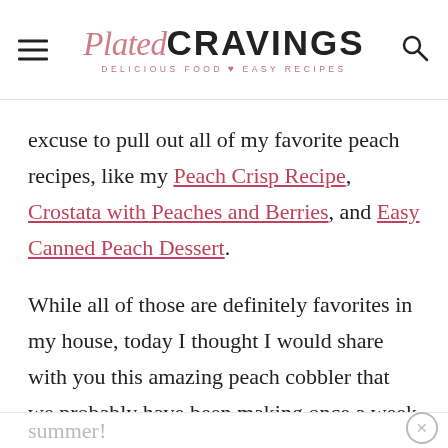Plated CRAVINGS · DELICIOUS FOOD ♥ EASY RECIPES
excuse to pull out all of my favorite peach recipes, like my Peach Crisp Recipe, Crostata with Peaches and Berries, and Easy Canned Peach Dessert.
While all of those are definitely favorites in my house, today I thought I would share with you this amazing peach cobbler that we probably have been making once a week this summer!